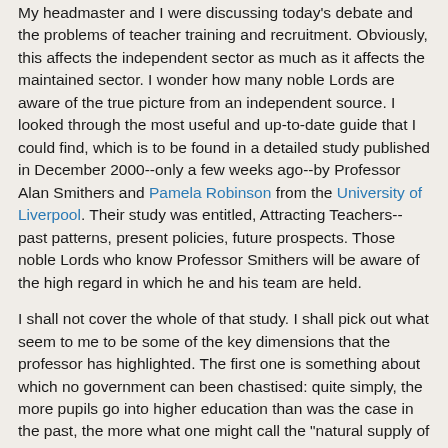My headmaster and I were discussing today's debate and the problems of teacher training and recruitment. Obviously, this affects the independent sector as much as it affects the maintained sector. I wonder how many noble Lords are aware of the true picture from an independent source. I looked through the most useful and up-to-date guide that I could find, which is to be found in a detailed study published in December 2000--only a few weeks ago--by Professor Alan Smithers and Pamela Robinson from the University of Liverpool. Their study was entitled, Attracting Teachers--past patterns, present policies, future prospects. Those noble Lords who know Professor Smithers will be aware of the high regard in which he and his team are held.
I shall not cover the whole of that study. I shall pick out what seem to me to be some of the key dimensions that the professor has highlighted. The first one is something about which no government can been chastised: quite simply, the more pupils go into higher education than was the case in the past, the more what one might call the "natural supply of teachers" is diminished, because so many more opportunities are open to our young people. The teaching profession, therefore, has to compete with the whole wider open market for graduates today. That is a matter of a general nature that we all have to face up to.
Secondly, Professor Smithers--and I agree with him--states that measuring vacancies is not an effective method of assessing the scale of a problem, as will be confirmed by those who visit all schools and...